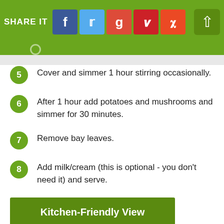SHARE IT
Cover and simmer 1 hour stirring occasionally.
After 1 hour add potatoes and mushrooms and simmer for 30 minutes.
Remove bay leaves.
Add milk/cream (this is optional - you don't need it) and serve.
Kitchen-Friendly View